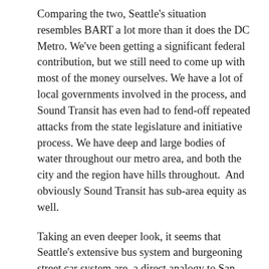Comparing the two, Seattle's situation resembles BART a lot more than it does the DC Metro. We've been getting a significant federal contribution, but we still need to come up with most of the money ourselves. We have a lot of local governments involved in the process, and Sound Transit has even had to fend-off repeated attacks from the state legislature and initiative process. We have deep and large bodies of water throughout our metro area, and both the city and the region have hills throughout.  And obviously Sound Transit has sub-area equity as well.
Taking an even deeper look, it seems that Seattle's extensive bus system and burgeoning street car system are  a direct analogy to San Francisco's Muni buses and Metro. The Muni Metro is a European-